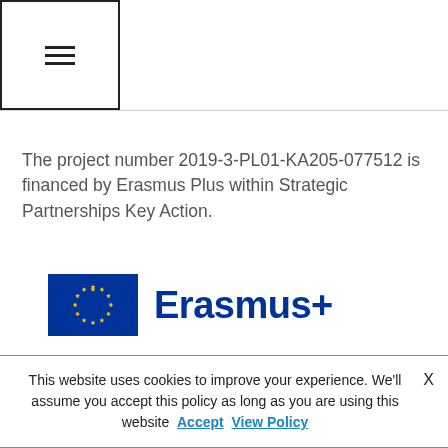☰
The project number 2019-3-PL01-KA205-077512 is financed by Erasmus Plus within Strategic Partnerships Key Action.
[Figure (logo): Erasmus+ logo with EU flag (blue background with yellow stars) and 'Erasmus+' text in dark blue]
This website uses cookies to improve your experience. We'll assume you accept this policy as long as you are using this website Accept View Policy